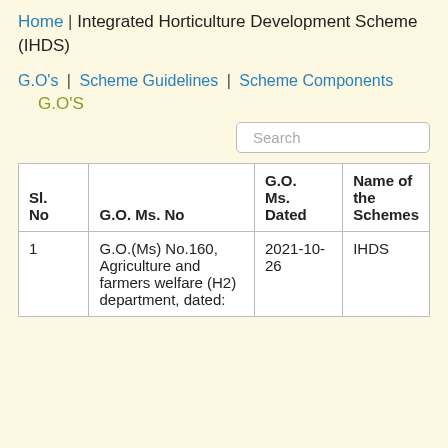Home | Integrated Horticulture Development Scheme (IHDS)
G.O's | Scheme Guidelines | Scheme Components
G.O'S
| Sl. No | G.O. Ms. No | G.O. Ms. Dated | Name of the Schemes |
| --- | --- | --- | --- |
| 1 | G.O.(Ms) No.160, Agriculture and farmers welfare (H2) department, dated: | 2021-10-26 | IHDS |